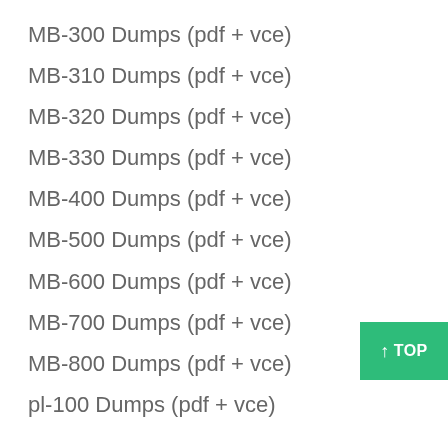MB-300 Dumps (pdf + vce)
MB-310 Dumps (pdf + vce)
MB-320 Dumps (pdf + vce)
MB-330 Dumps (pdf + vce)
MB-400 Dumps (pdf + vce)
MB-500 Dumps (pdf + vce)
MB-600 Dumps (pdf + vce)
MB-700 Dumps (pdf + vce)
MB-800 Dumps (pdf + vce)
pl-100 Dumps (pdf + vce)